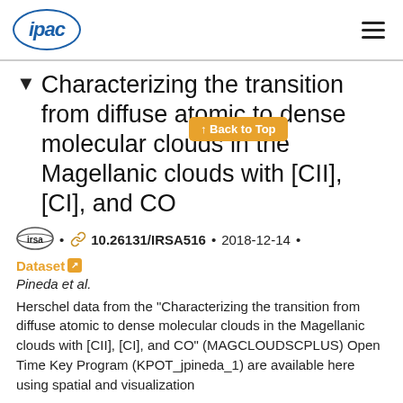ipac (logo) | hamburger menu
Characterizing the transition from diffuse atomic to dense molecular clouds in the Magellanic clouds with [CII], [CI], and CO
Back to Top (button overlay)
IRSA logo • 🔗 10.26131/IRSA516 • 2018-12-14 • Dataset
Pineda et al.
Herschel data from the "Characterizing the transition from diffuse atomic to dense molecular clouds in the Magellanic clouds with [CII], [CI], and CO" (MAGCLOUDSCPLUS) Open Time Key Program (KPOT_jpineda_1) are available here using spatial and visualization